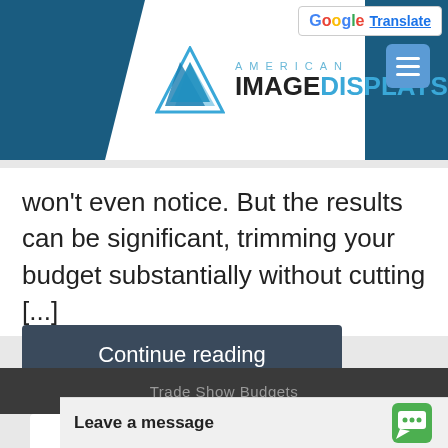[Figure (logo): American Image Displays logo with blue triangle icon and text on dark blue header background]
won't even notice. But the results can be significant, trimming your budget substantially without cutting [...]
Continue reading
Trade Show Budgets
Shopping To Save M